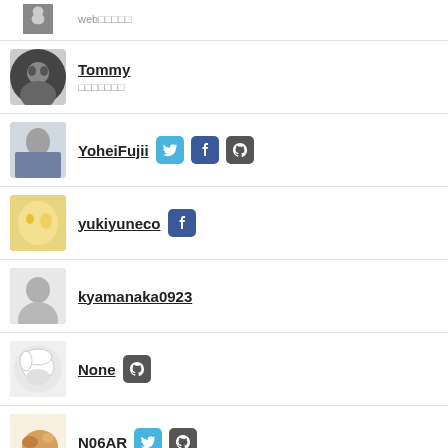web (partial, top)
Tommy
YoheiFujii [Twitter, Facebook, GitHub]
yukiyuneco [Facebook]
kyamanaka0923
None [GitHub]
N06AR [Twitter, GitHub]
ChlorideOverFlow [Twitter, GitHub] — JS, TS, Nuxt, Next, Node, Express, JanusGraph, ...
misaosvushi [Twitter, GitHub]